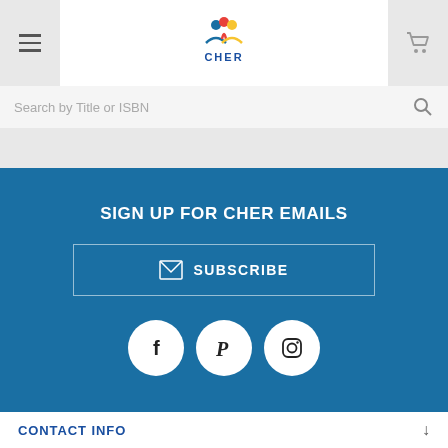CHER (logo with hamburger menu and cart)
Search by Title or ISBN
SIGN UP FOR CHER EMAILS
SUBSCRIBE
[Figure (illustration): Social media icons: Facebook, Pinterest, Instagram in white circles on blue background]
CONTACT INFO
INFORMATION